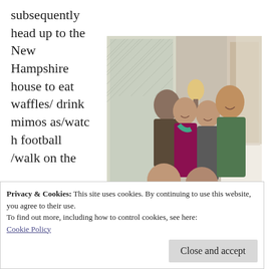subsequently head up to the New Hampshire house to eat waffles/drink mimosas/watch football/walk on the
[Figure (photo): A family group photo taken indoors at a restaurant. Six people are posing together — two older adults seated in front, and four younger adults standing behind them. The room has warm lighting with wall sconces, white tablecloths, and windows with decorative lattice.]
Privacy & Cookies: This site uses cookies. By continuing to use this website, you agree to their use.
To find out more, including how to control cookies, see here:
Cookie Policy
Close and accept